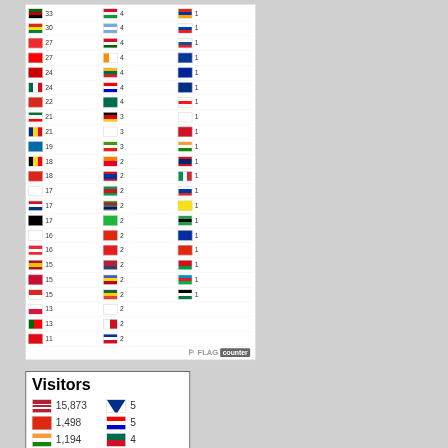[Figure (table-as-image): Flag counter widget showing country flags with visitor counts in three columns. Left column: KE=33, BO=30, NO=27, TW=27, TP=24, MX=24, CH=22, AE=21, RO=21, SE=19, BE=18, VN=18, FI=17, HR=17, JM=17, IL=16, AT=16, ES=15, DK=15, CL=15, PL=13, PT=13, TR=11. Middle column showing flags with counts 4,4,4,4,4,4,4,3,3,3,2,2,2,2,2,2,2,2,2,2,2,2,2. Right column showing flags with count 1 each. Footer: FLAG counter logo.]
[Figure (table-as-image): Visitors widget showing: US=15,873 / Nepal=5 / China=1,498 / Croatia=5 / India=1,194 / flag=4]